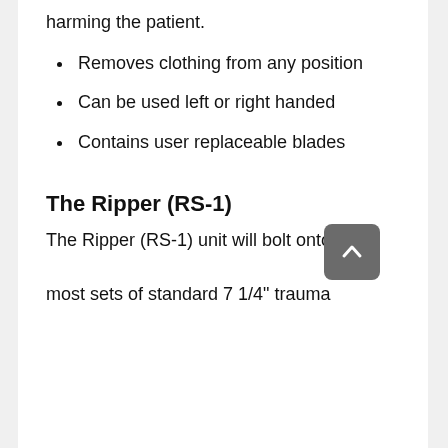harming the patient.
Removes clothing from any position
Can be used left or right handed
Contains user replaceable blades
The Ripper (RS-1)
The Ripper (RS-1) unit will bolt onto most sets of standard 7 1/4" trauma